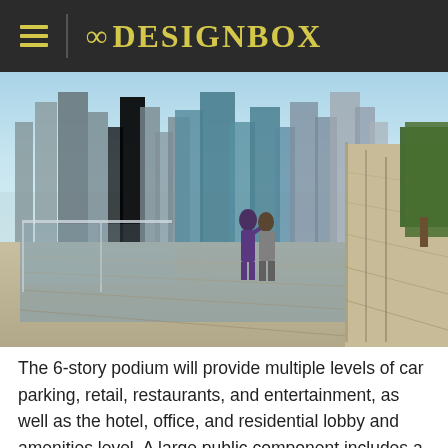≡  8DESIGNBOX
[Figure (photo): Aerial rooftop terrace view with two people standing at a glass railing overlooking a dense city skyline with skyscrapers, blue sky, and greenery on the right side]
The 6-story podium will provide multiple levels of car parking, retail, restaurants, and entertainment, as well as the hotel, office, and residential lobby and amenities level. A large public component includes a "city room," which will feature public art and outdoor